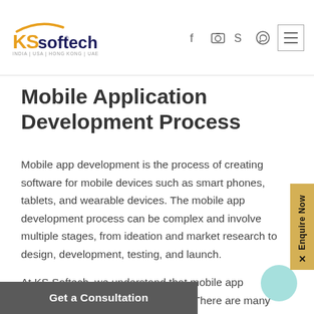KS Softech | INDIA | USA | HONG KONG | UAE
Mobile Application Development Process
Mobile app development is the process of creating software for mobile devices such as smart phones, tablets, and wearable devices. The mobile app development process can be complex and involve multiple stages, from ideation and market research to design, development, testing, and launch.
At KS Softech, we understand that mobile app development is a complex process. There are many moving parts, and each step must be executed flawlessly in order for the project to be successful. [We have developed a tried-and-true mobil] development process that has helped our clients
Get a Consultation